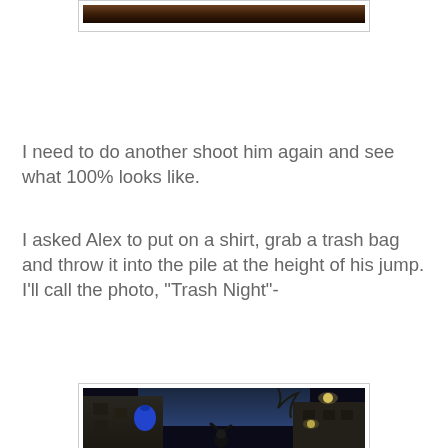[Figure (photo): Top portion of a nighttime photo, partially visible at top of page showing dark tones]
I need to do another shoot him again and see what 100% looks like.
I asked Alex to put on a shirt, grab a trash bag and throw it into the pile at the height of his jump. I'll call the photo, "Trash Night"-
[Figure (photo): Nighttime urban alley photo showing a person jumping and throwing a blue trash bag into the air, with city buildings and streetlights in the background]